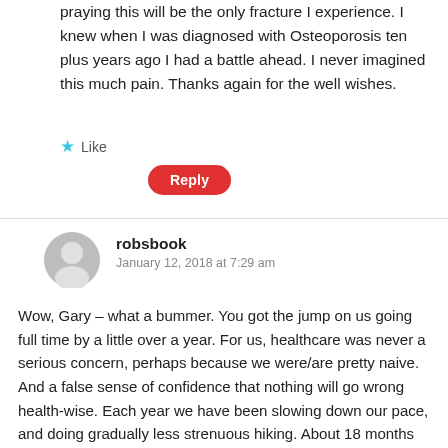praying this will be the only fracture I experience. I knew when I was diagnosed with Osteoporosis ten plus years ago I had a battle ahead. I never imagined this much pain. Thanks again for the well wishes.
★ Like
Reply
robsbook
January 12, 2018 at 7:29 am
Wow, Gary – what a bummer. You got the jump on us going full time by a little over a year. For us, healthcare was never a serious concern, perhaps because we were/are pretty naive. And a false sense of confidence that nothing will go wrong health-wise. Each year we have been slowing down our pace, and doing gradually less strenuous hiking. About 18 months ago we did sign up for health insurance and that has turned out to be a very good thing. Nothing major at this point, but it has covered us well for the things we have had to deal with, including minor surgery.